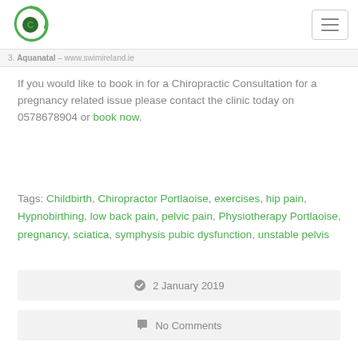Chiropractic clinic logo and navigation
3. Aquanatal – www.swimirelandie
If you would like to book in for a Chiropractic Consultation for a pregnancy related issue please contact the clinic today on 0578678904 or book now.
Tags: Childbirth, Chiropractor Portlaoise, exercises, hip pain, Hypnobirthing, low back pain, pelvic pain, Physiotherapy Portlaoise, pregnancy, sciatica, symphysis pubic dysfunction, unstable pelvis
2 January 2019
No Comments